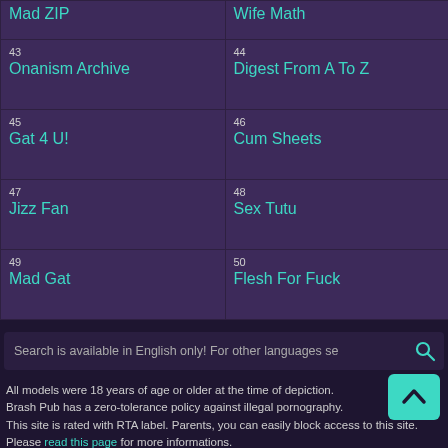| Mad ZIP | Wife Math |
| 43
Onanism Archive | 44
Digest From A To Z |
| 45
Gat 4 U! | 46
Cum Sheets |
| 47
Jizz Fan | 48
Sex Tutu |
| 49
Mad Gat | 50
Flesh For Fuck |
Search is available in English only! For other languages se
All models were 18 years of age or older at the time of depiction.
Brash Pub has a zero-tolerance policy against illegal pornography.
This site is rated with RTA label. Parents, you can easily block access to this site. Please read this page for more informations.
Copyright © 2016-2020 brashpub.com. All rights reserved.